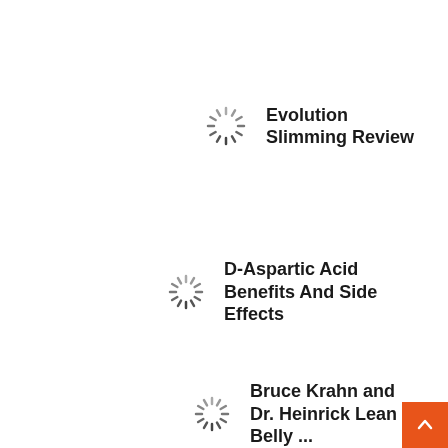[Figure (other): Loading spinner icon]
Evolution Slimming Review
[Figure (other): Loading spinner icon]
D-Aspartic Acid Benefits And Side Effects
[Figure (other): Loading spinner icon]
Bruce Krahn and Dr. Heinrick Lean Belly ...